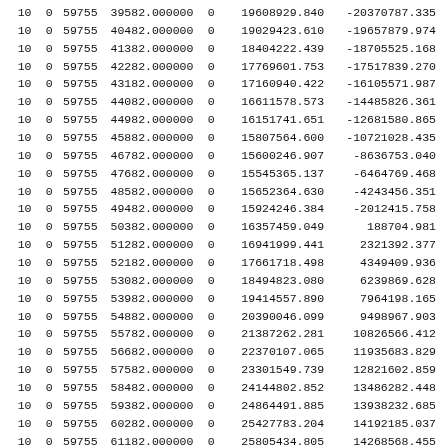| col1 | col2 | col3 | col4 | col5 | col6 | col7 |
| --- | --- | --- | --- | --- | --- | --- |
| 10 | 0 | 59755 | 39582.000000 | 0 | 19608929.840 | -20370787.335 |
| 10 | 0 | 59755 | 40482.000000 | 0 | 19029423.610 | -19657879.974 |
| 10 | 0 | 59755 | 41382.000000 | 0 | 18404222.439 | -18705525.168 |
| 10 | 0 | 59755 | 42282.000000 | 0 | 17769601.753 | -17517839.270 |
| 10 | 0 | 59755 | 43182.000000 | 0 | 17160940.422 | -16105571.987 |
| 10 | 0 | 59755 | 44082.000000 | 0 | 16611578.573 | -14485826.361 |
| 10 | 0 | 59755 | 44982.000000 | 0 | 16151741.651 | -12681580.865 |
| 10 | 0 | 59755 | 45882.000000 | 0 | 15807564.600 | -10721028.435 |
| 10 | 0 | 59755 | 46782.000000 | 0 | 15600246.907 | -8636753.040 |
| 10 | 0 | 59755 | 47682.000000 | 0 | 15545365.137 | -6464769.468 |
| 10 | 0 | 59755 | 48582.000000 | 0 | 15652364.630 | -4243456.351 |
| 10 | 0 | 59755 | 49482.000000 | 0 | 15924246.384 | -2012415.758 |
| 10 | 0 | 59755 | 50382.000000 | 0 | 16357459.049 | 188704.981 |
| 10 | 0 | 59755 | 51282.000000 | 0 | 16941999.441 | 2321392.377 |
| 10 | 0 | 59755 | 52182.000000 | 0 | 17661718.498 | 4349409.936 |
| 10 | 0 | 59755 | 53082.000000 | 0 | 18494823.080 | 6239869.628 |
| 10 | 0 | 59755 | 53982.000000 | 0 | 19414557.890 | 7964198.165 |
| 10 | 0 | 59755 | 54882.000000 | 0 | 20390046.099 | 9498967.903 |
| 10 | 0 | 59755 | 55782.000000 | 0 | 21387262.281 | 10826566.412 |
| 10 | 0 | 59755 | 56682.000000 | 0 | 22370107.065 | 11935683.829 |
| 10 | 0 | 59755 | 57582.000000 | 0 | 23301549.739 | 12821602.859 |
| 10 | 0 | 59755 | 58482.000000 | 0 | 24144802.852 | 13486282.448 |
| 10 | 0 | 59755 | 59382.000000 | 0 | 24864491.885 | 13938232.685 |
| 10 | 0 | 59755 | 60282.000000 | 0 | 25427783.204 | 14192185.037 |
| 10 | 0 | 59755 | 61182.000000 | 0 | 25805434.805 | 14268568.455 |
| 10 | 0 | 59755 | 62082.000000 | 0 | 25972736.855 | 14192808.018 |
| 10 | 0 | 59755 | 62982.000000 | 0 | 25910312.450 | 13994468.322 |